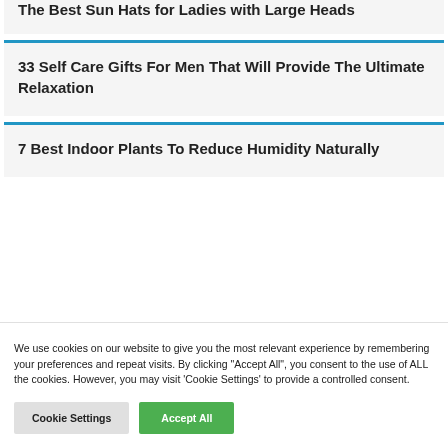The Best Sun Hats for Ladies with Large Heads
33 Self Care Gifts For Men That Will Provide The Ultimate Relaxation
7 Best Indoor Plants To Reduce Humidity Naturally
We use cookies on our website to give you the most relevant experience by remembering your preferences and repeat visits. By clicking “Accept All”, you consent to the use of ALL the cookies. However, you may visit 'Cookie Settings' to provide a controlled consent.
Cookie Settings
Accept All